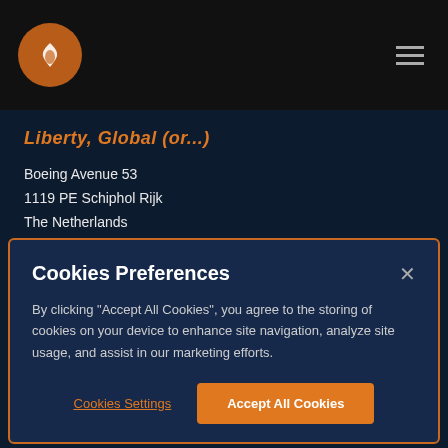Navigation bar with logo and hamburger menu
Liberty Global (or similar company name - partially visible)
Boeing Avenue 53
1119 PE Schiphol Rijk
The Netherlands
+31 20 778 9840
Cookies Preferences
By clicking "Accept All Cookies", you agree to the storing of cookies on your device to enhance site navigation, analyze site usage, and assist in our marketing efforts.
Cookies Settings
Accept All Cookies